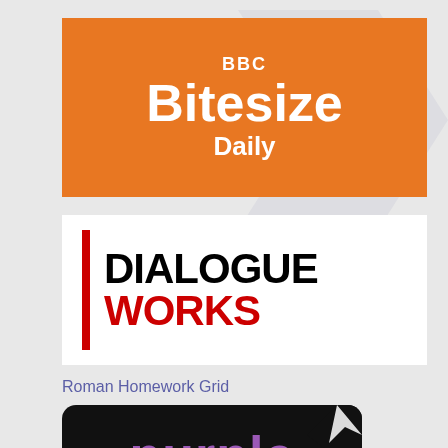[Figure (logo): BBC Bitesize Daily logo — orange background with white text reading BBC, Bitesize, Daily]
[Figure (logo): Dialogue Works logo — white background with a red vertical bar on the left, DIALOGUE in black bold and WORKS in red bold]
Roman Homework Grid
[Figure (illustration): Black rounded-rectangle image with the word 'purple' written in purple text, with a torn/folded white corner at top right]